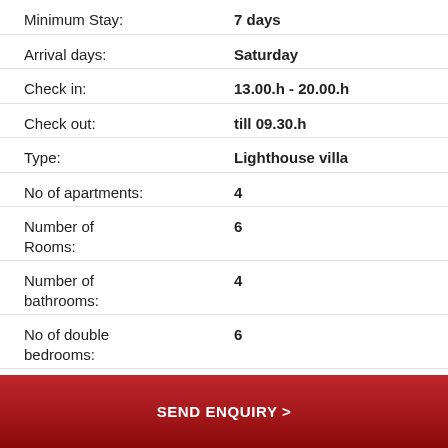Minimum Stay: 7 days
Arrival days: Saturday
Check in: 13.00.h - 20.00.h
Check out: till 09.30.h
Type: Lighthouse villa
No of apartments: 4
Number of Rooms: 6
Number of bathrooms: 4
No of double bedrooms: 6
Number of extra single beds: 2
Description - Lighthouse 7
SEND ENQUIRY >